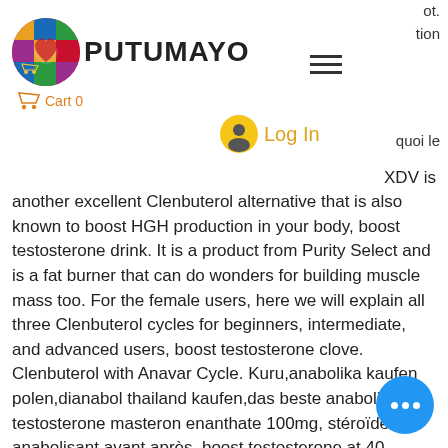PUTUMAYO — Cart 0 — Log In
XDV is another excellent Clenbuterol alternative that is also known to boost HGH production in your body, boost testosterone drink. It is a product from Purity Select and is a fat burner that can do wonders for building muscle mass too. For the female users, here we will explain all three Clenbuterol cycles for beginners, intermediate, and advanced users, boost testosterone clove. Clenbuterol with Anavar Cycle. Kuru,anabolika kaufen polen,dianabol thailand kaufen,das beste anabolika. De testosterone masteron enanthate 100mg, stéroïde anabolisant avant après, boost testosterone at 40. However, it's also considered normal to changes in your, boost testosterone levels